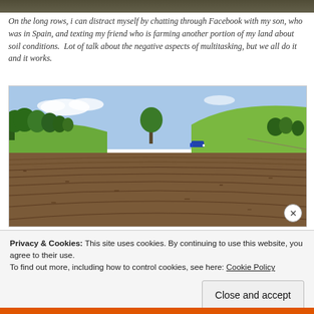[Figure (photo): Partial view of a photo at the very top of the page, cropped — appears to be an outdoor scene.]
On the long rows, i can distract myself by chatting through Facebook with my son, who was in Spain, and texting my friend who is farming another portion of my land about soil conditions.  Lot of talk about the negative aspects of multitasking, but we all do it and it works.
[Figure (photo): A plowed agricultural field in the foreground with rolling green hills and trees in the background. A vehicle is visible in the mid-distance.]
Privacy & Cookies: This site uses cookies. By continuing to use this website, you agree to their use.
To find out more, including how to control cookies, see here: Cookie Policy
Close and accept